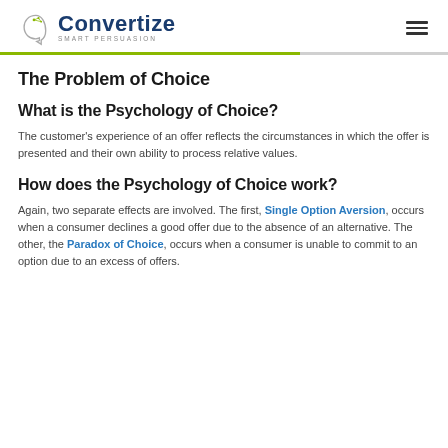Convertize SMART PERSUASION
The Problem of Choice
What is the Psychology of Choice?
The customer's experience of an offer reflects the circumstances in which the offer is presented and their own ability to process relative values.
How does the Psychology of Choice work?
Again, two separate effects are involved. The first, Single Option Aversion, occurs when a consumer declines a good offer due to the absence of an alternative. The other, the Paradox of Choice, occurs when a consumer is unable to commit to an option due to an excess of offers.